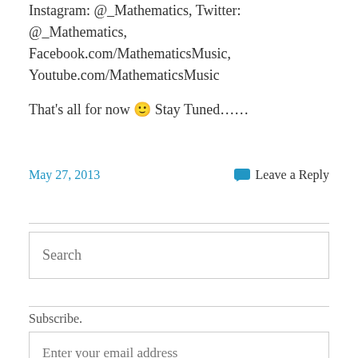Instagram: @_Mathematics, Twitter: @_Mathematics, Facebook.com/MathematicsMusic, Youtube.com/MathematicsMusic
That's all for now 🙂 Stay Tuned……
May 27, 2013    💬 Leave a Reply
Search
Subscribe.
Enter your email address